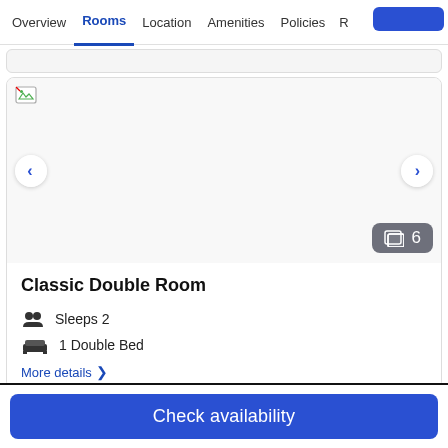Overview  Rooms  Location  Amenities  Policies  R
[Figure (screenshot): Hotel room image carousel placeholder with broken image icon, left/right navigation arrows, and a photo count badge showing 6 photos]
Classic Double Room
Sleeps 2
1 Double Bed
More details >
Check availability